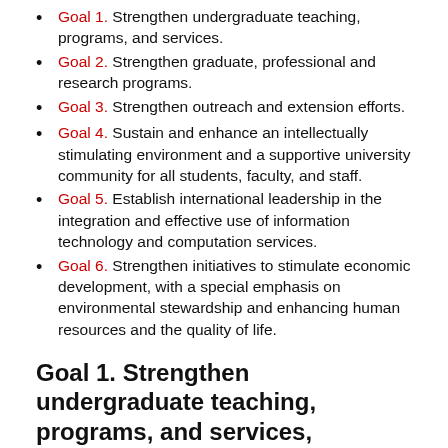Goal 1. Strengthen undergraduate teaching, programs, and services.
Goal 2. Strengthen graduate, professional and research programs.
Goal 3. Strengthen outreach and extension efforts.
Goal 4. Sustain and enhance an intellectually stimulating environment and a supportive university community for all students, faculty, and staff.
Goal 5. Establish international leadership in the integration and effective use of information technology and computation services.
Goal 6. Strengthen initiatives to stimulate economic development, with a special emphasis on environmental stewardship and enhancing human resources and the quality of life.
Goal 1. Strengthen undergraduate teaching, programs, and services, characterized by: